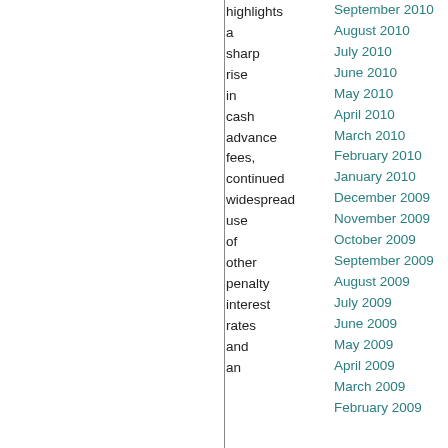highlights a sharp rise in cash advance fees, continued widespread use of other penalty interest rates and an
September 2010
August 2010
July 2010
June 2010
May 2010
April 2010
March 2010
February 2010
January 2010
December 2009
November 2009
October 2009
September 2009
August 2009
July 2009
June 2009
May 2009
April 2009
March 2009
February 2009